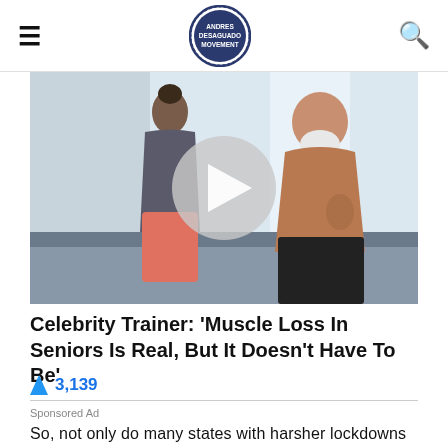ANDRES DESAGUADO MOVEMENT (logo)
[Figure (photo): A fitness photo showing a woman in workout clothes and a shirtless muscular older man with a white beard and tattoos, with a video play button overlay in the center.]
Celebrity Trainer: 'Muscle Loss In Seniors Is Real, But It Doesn't Have To Be'
🔥 3,139
Sponsored Ad
So, not only do many states with harsher lockdowns have far worse covid death totals, but they also have worse economies.